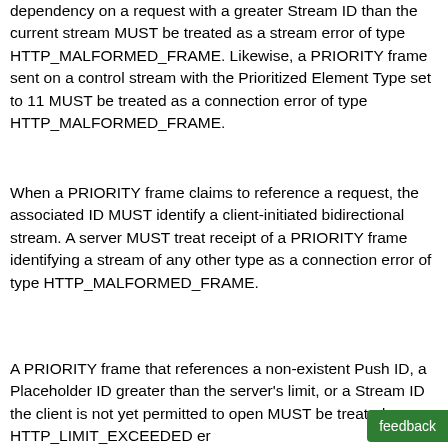dependency on a request with a greater Stream ID than the current stream MUST be treated as a stream error of type HTTP_MALFORMED_FRAME. Likewise, a PRIORITY frame sent on a control stream with the Prioritized Element Type set to 11 MUST be treated as a connection error of type HTTP_MALFORMED_FRAME.
When a PRIORITY frame claims to reference a request, the associated ID MUST identify a client-initiated bidirectional stream. A server MUST treat receipt of a PRIORITY frame identifying a stream of any other type as a connection error of type HTTP_MALFORMED_FRAME.
A PRIORITY frame that references a non-existent Push ID, a Placeholder ID greater than the server's limit, or a Stream ID the client is not yet permitted to open MUST be treated as an HTTP_LIMIT_EXCEEDED er...